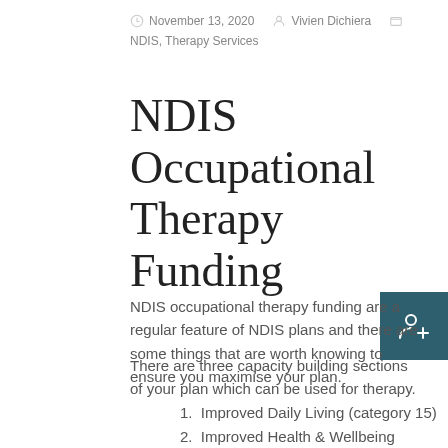November 13, 2020  Vivien Dichiera  NDIS, Therapy Services
NDIS Occupational Therapy Funding
NDIS occupational therapy funding are a regular feature of NDIS plans and there are some things that are worth knowing to ensure you maximise your plan.
There are three capacity building sections of your plan which can be used for therapy.
1. Improved Daily Living (category 15)
2. Improved Health & Wellbeing (category